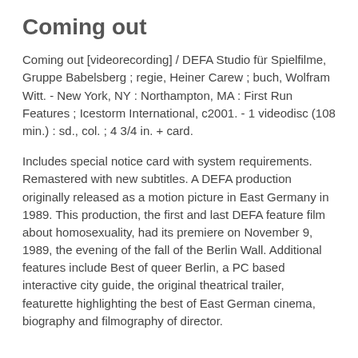Coming out
Coming out [videorecording] / DEFA Studio für Spielfilme, Gruppe Babelsberg ; regie, Heiner Carew ; buch, Wolfram Witt. - New York, NY : Northampton, MA : First Run Features ; Icestorm International, c2001. - 1 videodisc (108 min.) : sd., col. ; 4 3/4 in. + card.
Includes special notice card with system requirements. Remastered with new subtitles. A DEFA production originally released as a motion picture in East Germany in 1989. This production, the first and last DEFA feature film about homosexuality, had its premiere on November 9, 1989, the evening of the fall of the Berlin Wall. Additional features include Best of queer Berlin, a PC based interactive city guide, the original theatrical trailer, featurette highlighting the best of East German cinema, biography and filmography of director.